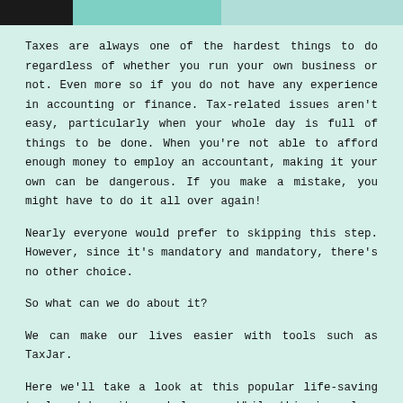Taxes are always one of the hardest things to do regardless of whether you run your own business or not. Even more so if you do not have any experience in accounting or finance. Tax-related issues aren't easy, particularly when your whole day is full of things to be done. When you're not able to afford enough money to employ an accountant, making it your own can be dangerous. If you make a mistake, you might have to do it all over again!
Nearly everyone would prefer to skipping this step. However, since it's mandatory and mandatory, there's no other choice.
So what can we do about it?
We can make our lives easier with tools such as TaxJar.
Here we'll take a look at this popular life-saving tool and how it can help you. While this is a long read, but you'll be able to